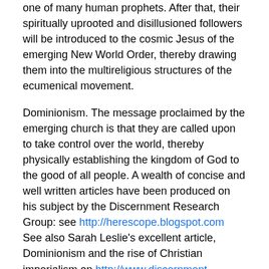one of many human prophets. After that, their spiritually uprooted and disillusioned followers will be introduced to the cosmic Jesus of the emerging New World Order, thereby drawing them into the multireligious structures of the ecumenical movement.
Dominionism. The message proclaimed by the emerging church is that they are called upon to take control over the world, thereby physically establishing the kingdom of God to the good of all people. A wealth of concise and well written articles have been produced on his subject by the Discernment Research Group: see http://herescope.blogspot.com See also Sarah Leslie's excellent article, Dominionism and the rise of Christian imperialism on http://www.discernment-ministries.org/
Herescope offers interesting excerpts from an article by C.